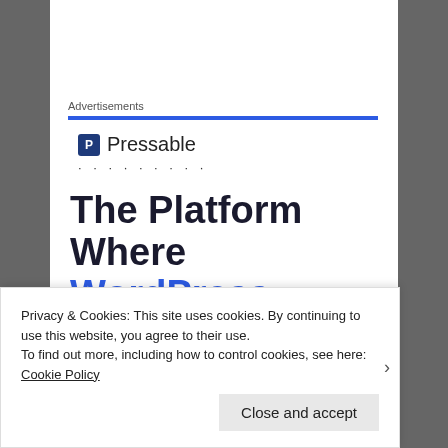Advertisements
[Figure (logo): Pressable logo with blue P icon and text 'Pressable']
· · · · · · · · ·
The Platform Where WordPress -
Privacy & Cookies: This site uses cookies. By continuing to use this website, you agree to their use.
To find out more, including how to control cookies, see here: Cookie Policy
Close and accept